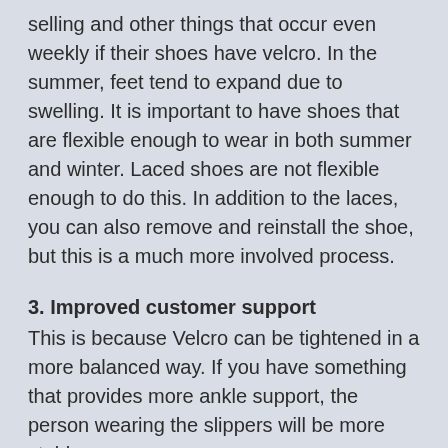selling and other things that occur even weekly if their shoes have velcro. In the summer, feet tend to expand due to swelling. It is important to have shoes that are flexible enough to wear in both summer and winter. Laced shoes are not flexible enough to do this. In addition to the laces, you can also remove and reinstall the shoe, but this is a much more involved process.
3. Improved customer support
This is because Velcro can be tightened in a more balanced way. If you have something that provides more ankle support, the person wearing the slippers will be more stable.
4. Comfortable